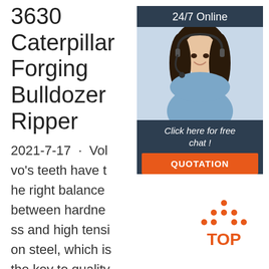3630 Caterpillar Forging Bulldozer Ripper
2021-7-17 · Volvo's teeth have the right balance between hardness and high tension steel, which is the key to quality and long wear life. The teeth consist of a specifically designed steel alloy, with a har
[Figure (photo): Customer service representative with headset, smiling. Banner with '24/7 Online', 'Click here for free chat!', and orange QUOTATION button.]
[Figure (logo): Orange TOP logo with dots forming a triangle above the word TOP]